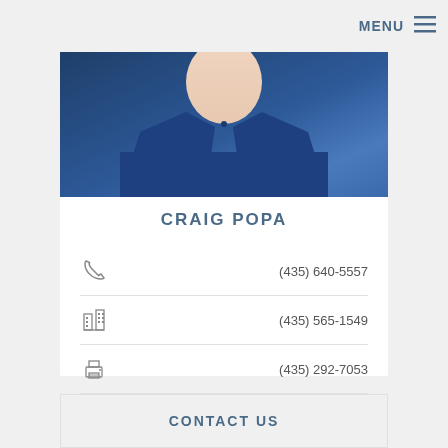MENU
[Figure (photo): Partial photo of Craig Popa wearing a blue collared shirt, cropped to show collar/chest area only.]
CRAIG POPA
(435) 640-5557
(435) 565-1549
(435) 292-7053
Email
[Figure (infographic): Social media icon buttons for Twitter, Facebook, and LinkedIn]
CONTACT US